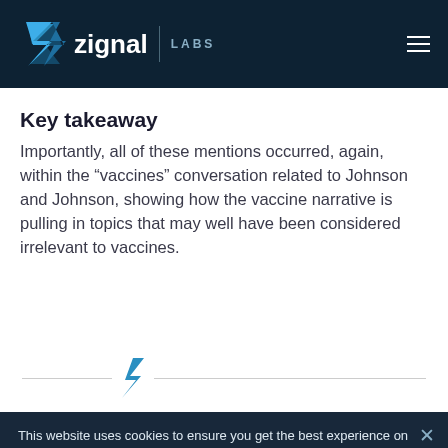zignal LABS
Key takeaway
Importantly, all of these mentions occurred, again, within the “vaccines” conversation related to Johnson and Johnson, showing how the vaccine narrative is pulling in topics that may well have been considered irrelevant to vaccines.
[Figure (logo): Zignal Labs lightning bolt divider icon with horizontal lines on either side]
This website uses cookies to ensure you get the best experience on our website. Stay up-to-date with Zignal